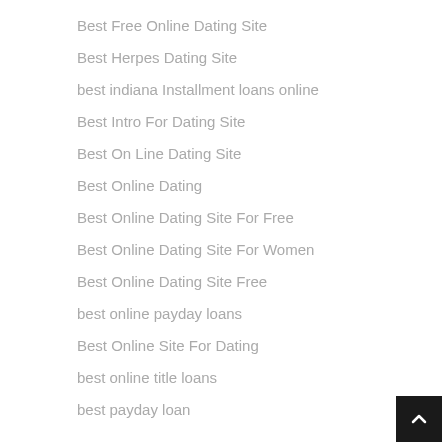Best Free Online Dating Site
Best Herpes Dating Site
best indiana Installment loans online
Best Intro For Dating Site
Best On Line Dating Site
Best Online Dating
Best Online Dating Site For Free
Best Online Dating Site For Women
Best Online Dating Site Free
best online payday loans
Best Online Site For Dating
best online title loans
best payday loan